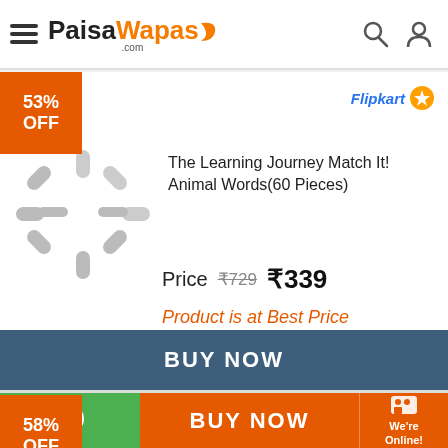PaisaWapas.com
53% OFF
[Figure (logo): Flipkart logo with star icon]
The Learning Journey Match It! Animal Words(60 Pieces)
Price  ₹729  ₹339
Product is at Best Price
BUY NOW
58% OFF
[Figure (logo): Flipkart logo with star icon]
The Learning Journey Match It! Farm Dominoes(32 Pieces)
Price  ₹729  ₹300
BUY NOW